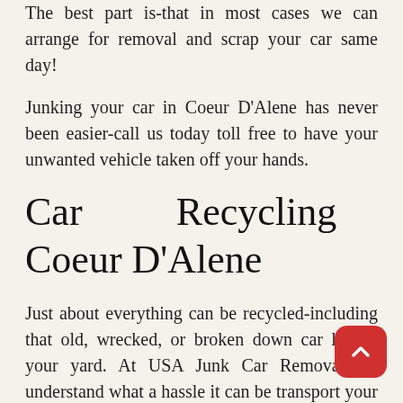The best part is-that in most cases we can arrange for removal and scrap your car same day!
Junking your car in Coeur D'Alene has never been easier-call us today toll free to have your unwanted vehicle taken off your hands.
Car Recycling Coeur D'Alene
Just about everything can be recycled-including that old, wrecked, or broken down car left in your yard. At USA Junk Car Removal we understand what a hassle it can be transport your unwanted vehicles to the